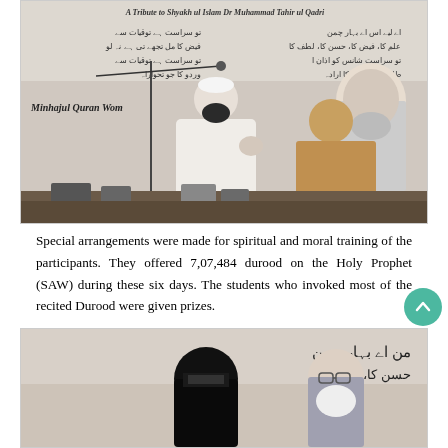[Figure (photo): Indoor gathering photo: a man in white shalwar kameez and white cap speaks at a microphone stand, another man in brown/mustard sits to his right, and a large poster of Shyakh ul Islam Dr Muhammad Tahir ul Qadri with Urdu text is visible in the background. Text 'Minhajul Quran Wom...' visible on bottom-left of banner. A table with books and items is in the foreground.]
Special arrangements were made for spiritual and moral training of the participants. They offered 7,07,484 durood on the Holy Prophet (SAW) during these six days. The students who invoked most of the recited Durood were given prizes.
[Figure (photo): Second photo showing a woman in black niqab/abaya on the left and a man with white beard on the right, with a banner in the background showing Urdu text including 'من اے بہار چمن' and 'حسن کا، لطف کا'.]